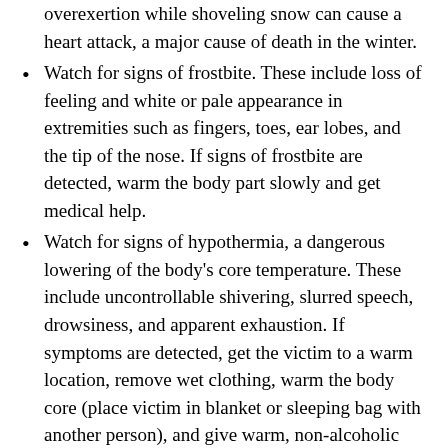overexertion while shoveling snow can cause a heart attack, a major cause of death in the winter.
Watch for signs of frostbite. These include loss of feeling and white or pale appearance in extremities such as fingers, toes, ear lobes, and the tip of the nose. If signs of frostbite are detected, warm the body part slowly and get medical help.
Watch for signs of hypothermia, a dangerous lowering of the body's core temperature. These include uncontrollable shivering, slurred speech, drowsiness, and apparent exhaustion. If symptoms are detected, get the victim to a warm location, remove wet clothing, warm the body core (place victim in blanket or sleeping bag with another person), and give warm, non-alcoholic drinks if the victim is conscious. Get medical help as soon as possible.
Fuel you vehicle before the storm. Drive only if it is absolutely necessary. If you must drive, travel during the